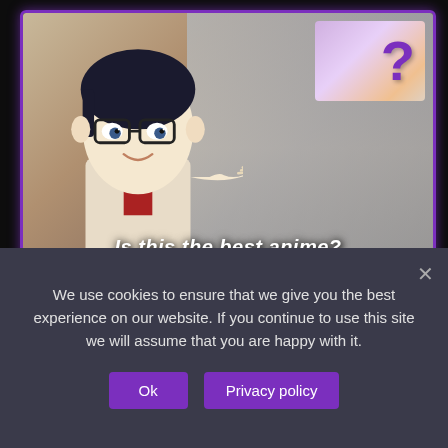[Figure (screenshot): Anime-style cartoon character with glasses gesturing with open palm toward upper-right corner, with a question mark box overlay. Caption reads 'Is this the best anime?'. Purple border around the thumbnail.]
My 10 Favorite Anime Series
We use cookies to ensure that we give you the best experience on our website. If you continue to use this site we will assume that you are happy with it.
Ok   Privacy policy